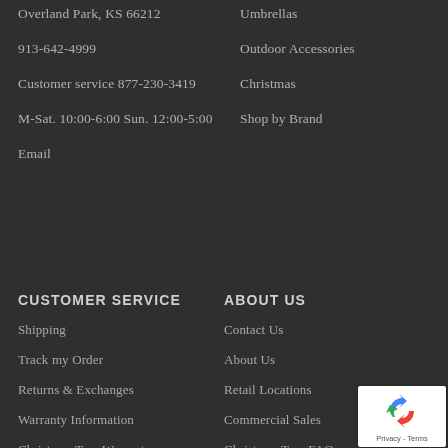Overland Park, KS 66212
913-642-4999
Customer service 877-230-3419
M-Sat. 10:00-6:00 Sun. 12:00-5:00
Email
Umbrellas
Outdoor Accessories
Christmas
Shop by Brand
CUSTOMER SERVICE
ABOUT US
Shipping
Contact Us
Track my Order
About Us
Returns & Exchanges
Retail Locations
Warranty Information
Commercial Sales
Christmas Tree Warranty
Christmas Tree FAQs
[Figure (logo): reCAPTCHA badge with recycling-arrows icon and Privacy - Terms text]